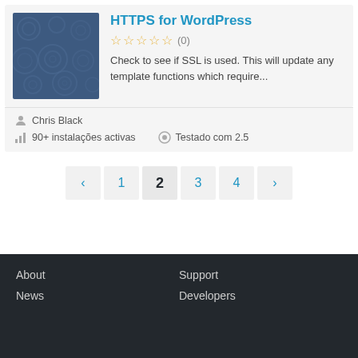[Figure (illustration): Plugin thumbnail image with blue background and circular pattern decorations]
HTTPS for WordPress
☆☆☆☆☆ (0)
Check to see if SSL is used. This will update any template functions which require...
Chris Black
90+ instalações activas
Testado com 2.5
‹ 1 2 3 4 ›
About
Support
News
Developers